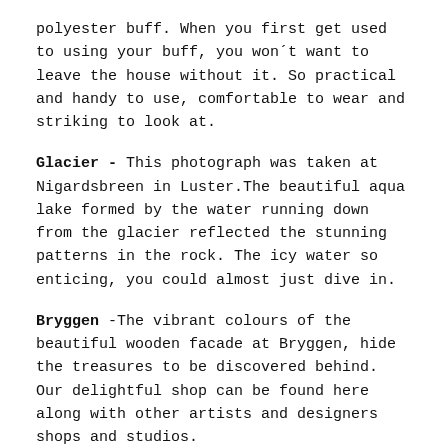polyester buff. When you first get used to using your buff, you won´t want to leave the house without it. So practical and handy to use, comfortable to wear and striking to look at.
Glacier - This photograph was taken at Nigardsbreen in Luster.The beautiful aqua lake formed by the water running down from the glacier reflected the stunning patterns in the rock. The icy water so enticing, you could almost just dive in.
Bryggen -The vibrant colours of the beautiful wooden facade at Bryggen, hide the treasures to be discovered behind. Our delightful shop can be found here along with other artists and designers shops and studios.
Reflection - Captured on a sunny winters day at Kjøsnesfjorden in Jølster. This view is never the same